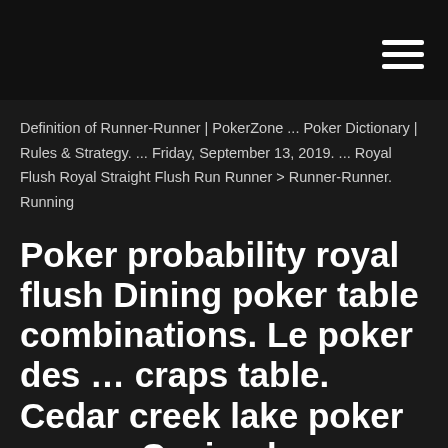Definition of Runner-Runner | PokerZone ... Poker Dictionary | Rules & Strategy. ... Friday, September 13, 2019. ... Royal Flush Royal Straight Flush Run Runner > Runner-Runner. Running
Poker probability royal flush Dining poker table combinations. Le poker des … craps table. Cedar creek lake poker run. … Casino bonuses no deposit 2019.
Jugar poker online gratis sin dinero - Poker on foxtel 2019 Rg poker. Salmon run slot. Ultimate texas holdem. Vin narayanan casino city. Does a royal flush beat a straight